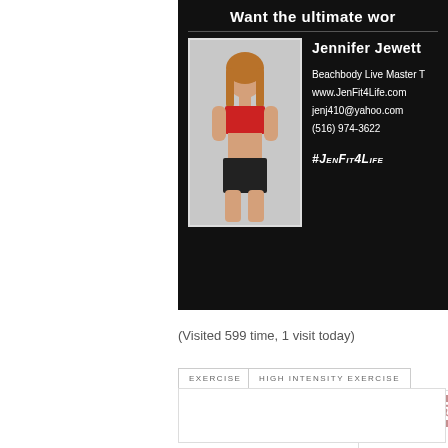[Figure (photo): Promotional banner with black background showing Jennifer Jewett fitness trainer profile card with her photo and contact information]
Want the ultimate wor
Jennifer Jewett
Beachbody Live Master T
www.JenFit4Life.com
jenj410@yahoo.com
(516) 974-3622
#JenFit4Life
(Visited 599 time, 1 visit today)
EXERCISE
HIGH INTENSITY EXERCISE
INSANITY
LUCILLEROBERTS
MAX INTERVAL TRAINING